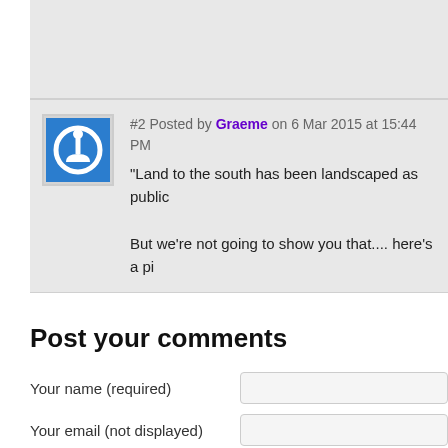#2 Posted by Graeme on 6 Mar 2015 at 15:44 PM
"Land to the south has been landscaped as public...
But we're not going to show you that.... here's a pi...
Post your comments
Your name (required)
Your email (not displayed)
Comments (required)